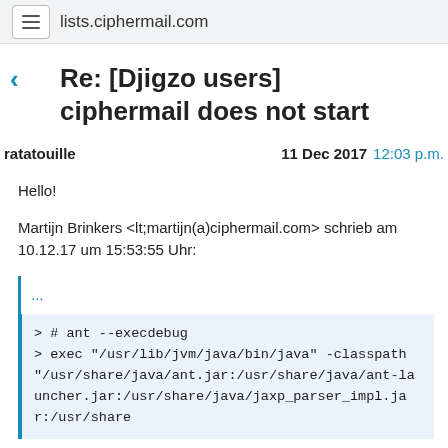lists.ciphermail.com
Re: [Djigzo users] ciphermail does not start
ratatouille   11 Dec 2017  12:03 p.m.
Hello!
Martijn Brinkers <lt;martijn(a)ciphermail.com&gt; schrieb am 10.12.17 um 15:53:55 Uhr:
...
> # ant --execdebug
> exec "/usr/lib/jvm/java/bin/java" -classpath "/usr/share/java/ant.jar:/usr/share/java/ant-launcher.jar:/usr/share/java/jaxp_parser_impl.jar:/usr/share